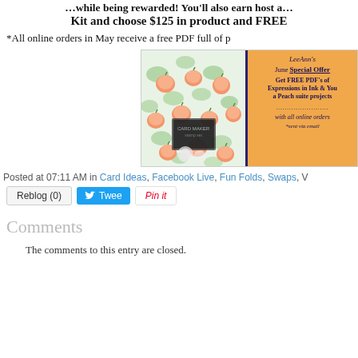Kit and choose $125 in product and FREE
*All online orders in May receive a free PDF full of p
[Figure (illustration): LeeAnn's June Special Offer advertisement banner with floral/peach pattern photo on left and orange panel on right with text: Get FREE PDF's of Expressions in Ink & You a Peach suite projects ... with all online orders *sent via email]
Posted at 07:11 AM in Card Ideas, Facebook Live, Fun Folds, Swaps, V
Reblog (0)  Tweet  Pin it
Comments
The comments to this entry are closed.